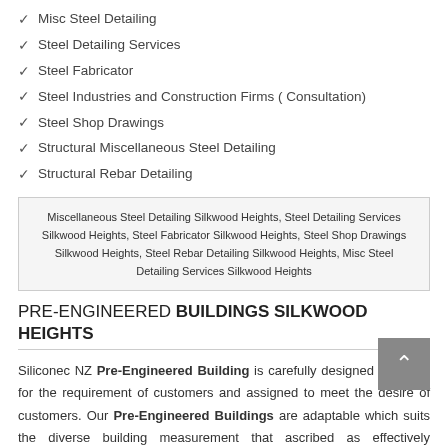Misc Steel Detailing
Steel Detailing Services
Steel Fabricator
Steel Industries and Construction Firms ( Consultation)
Steel Shop Drawings
Structural Miscellaneous Steel Detailing
Structural Rebar Detailing
Miscellaneous Steel Detailing Silkwood Heights, Steel Detailing Services Silkwood Heights, Steel Fabricator Silkwood Heights, Steel Shop Drawings Silkwood Heights, Steel Rebar Detailing Silkwood Heights, Misc Steel Detailing Services Silkwood Heights
PRE-ENGINEERED BUILDINGS SILKWOOD HEIGHTS
Siliconec NZ Pre-Engineered Building is carefully designed solutions for the requirement of customers and assigned to meet the desire of customers. Our Pre-Engineered Buildings are adaptable which suits the diverse building measurement that ascribed as effectively expandable, restraint against the extreme climatic condition and makes maintenance free outside surface. We offer our Pre-Engineered